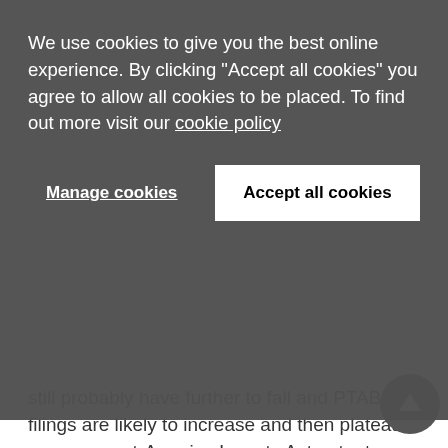We use cookies to give you the best online experience. By clicking "Accept all cookies" you agree to allow all cookies to be placed. To find out more visit our cookie policy
Manage cookies
Accept all cookies
still probably have further to fall and PTAB filings are likely to increase and then plateau as more post-America Invents Act patents become eligible for post-grant review proceedings. Changes to these PTAB validity challenges, some of which have already been announced by the USPTO, will make these proceedings more balanced towards patent owners; but not to a degree that will discourage new petition filings by patent challengers. Finally, I predict (or at least hope) that the Supreme Court, Feder...